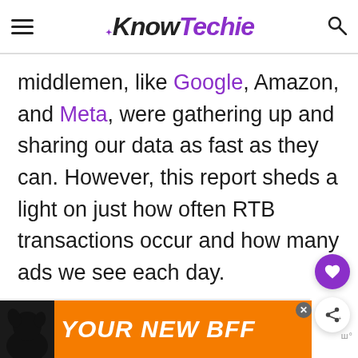KnowTechie
middlemen, like Google, Amazon, and Meta, were gathering up and sharing our data as fast as they can. However, this report sheds a light on just how often RTB transactions occur and how many ads we see each day.
[Figure (screenshot): Advertisement banner showing a dog silhouette and the text YOUR NEW BFF on an orange background with a close button]
[Figure (other): Floating action buttons: a purple heart/like button and a white share button with share icon]